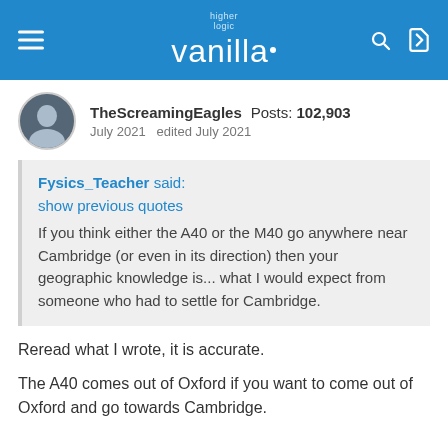higher logic vanilla
TheScreamingEagles  Posts: 102,903  July 2021  edited July 2021
Fysics_Teacher said:
show previous quotes
If you think either the A40 or the M40 go anywhere near Cambridge (or even in its direction) then your geographic knowledge is... what I would expect from someone who had to settle for Cambridge.
Reread what I wrote, it is accurate.
The A40 comes out of Oxford if you want to come out of Oxford and go towards Cambridge.